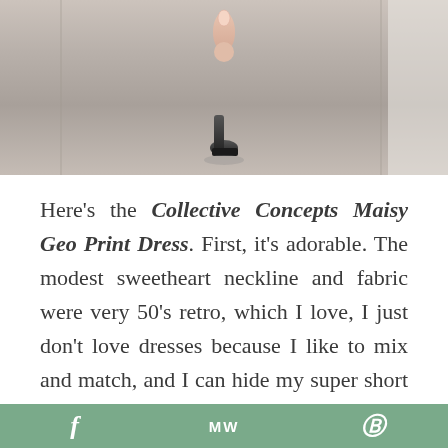[Figure (photo): A close-up photo showing a person's hand (finger pointing down) and a shoe/foot on a carpeted or textured surface, cropped at the top of the page.]
Here’s the Collective Concepts Maisy Geo Print Dress. First, it’s adorable. The modest sweetheart neckline and fabric were very 50’s retro, which I love, I just don’t love dresses because I like to mix and match, and I can hide my super short torso more with 2 pieces. I also felt like it made me look “hippy”, which I don’t need any help with. I thought it needed a separation in the middle like a belt, but I
f  MW  Ⓟ